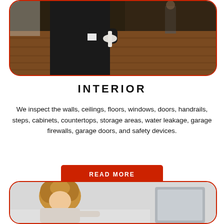[Figure (photo): Person in dark suit holding rolled papers/blueprints in a room with hardwood floors; another person visible in background]
INTERIOR
We inspect the walls, ceilings, floors, windows, doors, handrails, steps, cabinets, countertops, storage areas, water leakage, garage firewalls, garage doors, and safety devices.
READ MORE
[Figure (photo): Person with curly hair leaning over kitchen counter or appliance; kitchen appliances visible in background]